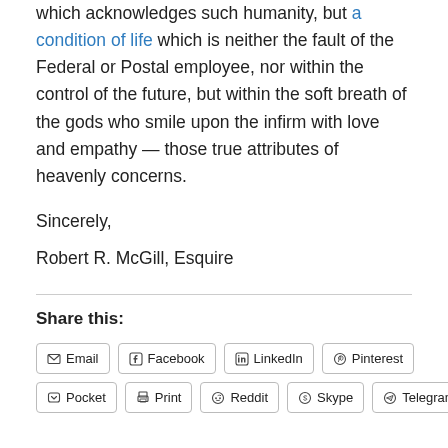which acknowledges such humanity, but a condition of life which is neither the fault of the Federal or Postal employee, nor within the control of the future, but within the soft breath of the gods who smile upon the infirm with love and empathy — those true attributes of heavenly concerns.
Sincerely,
Robert R. McGill, Esquire
Share this:
Email | Facebook | LinkedIn | Pinterest | Pocket | Print | Reddit | Skype | Telegram